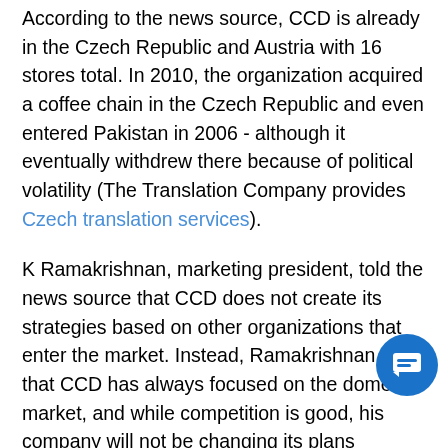According to the news source, CCD is already in the Czech Republic and Austria with 16 stores total. In 2010, the organization acquired a coffee chain in the Czech Republic and even entered Pakistan in 2006 - although it eventually withdrew there because of political volatility (The Translation Company provides Czech translation services).
K Ramakrishnan, marketing president, told the news source that CCD does not create its strategies based on other organizations that enter the market. Instead, Ramakrishnan said that CCD has always focused on the domestic market, and while competition is good, his company will not be changing its plans because of it.
"Starbucks has entered India but they did that after a lot of evaluation and the same applies for CCD when it is looking to expand in foreign countries," he said. "While competition will